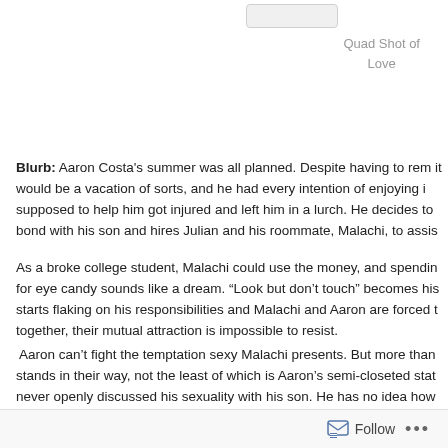[Figure (other): Book cover thumbnail stub at top right]
Quad Shot of Love
Blurb:  Aaron Costa's summer was all planned. Despite having to rem it would be a vacation of sorts, and he had every intention of enjoying i supposed to help him got injured and left him in a lurch. He decides to bond with his son and hires Julian and his roommate, Malachi, to assis
As a broke college student, Malachi could use the money, and spendin for eye candy sounds like a dream. “Look but don’t touch” becomes his starts flaking on his responsibilities and Malachi and Aaron are forced t together, their mutual attraction is impossible to resist.
Aaron can’t fight the temptation sexy Malachi presents. But more than stands in their way, not the least of which is Aaron’s semi-closeted stat never openly discussed his sexuality with his son. He has no idea how learns his father is not only gay, he’s also dating his best friend.
Follow ...